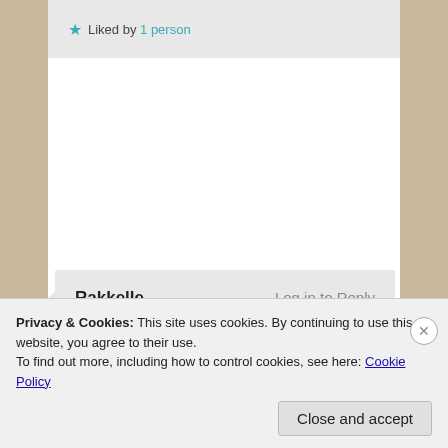★ Liked by 1 person
Rakkelle
August 28, 2018 at 10:07 pm

I miss the lazy afternoons' buttermilk and evening games that my heart immediately associates at the mention of the world 'childhood'.
Log in to Reply
Privacy & Cookies: This site uses cookies. By continuing to use this website, you agree to their use.
To find out more, including how to control cookies, see here: Cookie Policy
Close and accept
WORDPRESS.COM